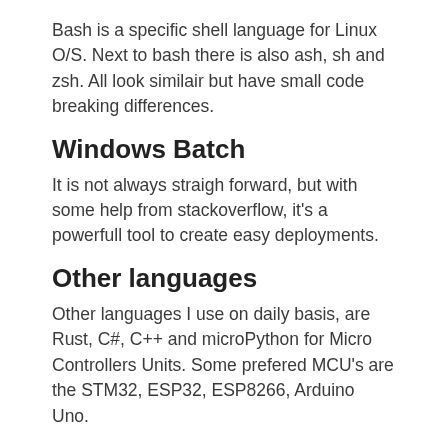Bash is a specific shell language for Linux O/S. Next to bash there is also ash, sh and zsh. All look similair but have small code breaking differences.
Windows Batch
It is not always straigh forward, but with some help from stackoverflow, it's a powerfull tool to create easy deployments.
Other languages
Other languages I use on daily basis, are Rust, C#, C++ and microPython for Micro Controllers Units. Some prefered MCU's are the STM32, ESP32, ESP8266, Arduino Uno.